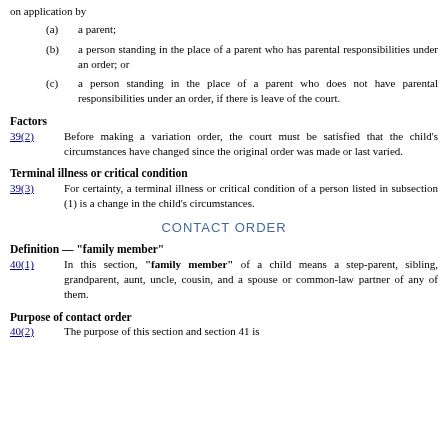on application by
(a) a parent;
(b) a person standing in the place of a parent who has parental responsibilities under an order; or
(c) a person standing in the place of a parent who does not have parental responsibilities under an order, if there is leave of the court.
Factors
39(2)   Before making a variation order, the court must be satisfied that the child's circumstances have changed since the original order was made or last varied.
Terminal illness or critical condition
39(3)   For certainty, a terminal illness or critical condition of a person listed in subsection (1) is a change in the child's circumstances.
CONTACT ORDER
Definition — "family member"
40(1)   In this section, "family member" of a child means a step-parent, sibling, grandparent, aunt, uncle, cousin, and a spouse or common-law partner of any of them.
Purpose of contact order
40(2)   The purpose of this section and section 41 is